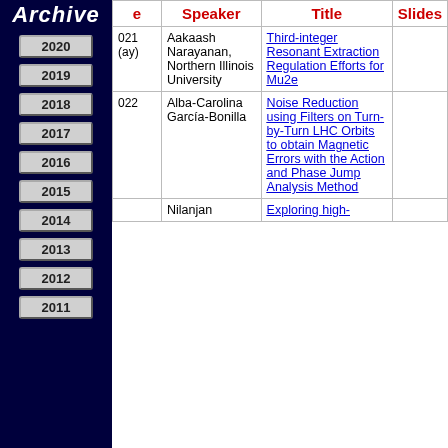Archive
| Date | Speaker | Title | Slides |
| --- | --- | --- | --- |
| 2021 (May) | Aakaash Narayanan, Northern Illinois University | Third-integer Resonant Extraction Regulation Efforts for Mu2e |  |
| 2022 | Alba-Carolina García-Bonilla | Noise Reduction using Filters on Turn-by-Turn LHC Orbits to obtain Magnetic Errors with the Action and Phase Jump Analysis Method |  |
|  | Nilanjan | Exploring high- |  |